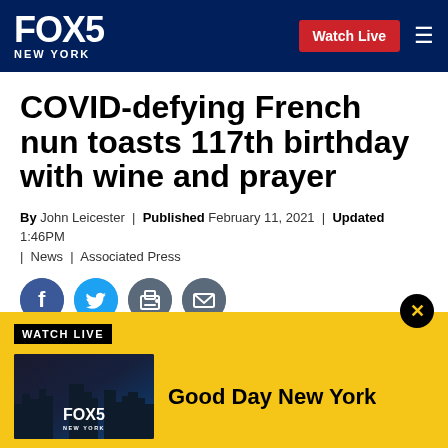FOX 5 NEW YORK | Watch Live
COVID-defying French nun toasts 117th birthday with wine and prayer
By John Leicester | Published February 11, 2021 | Updated 1:46PM | News | Associated Press
[Figure (other): Social media sharing icons: Facebook, Twitter, Print, Email]
[Figure (other): Watch Live banner with FOX 5 New York thumbnail and Good Day New York label]